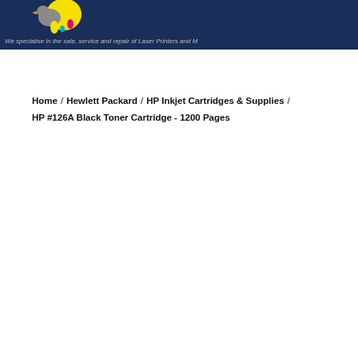We specialise in the sale, service and repair of Laser Printers and M...
Home / Hewlett Packard / HP Inkjet Cartridges & Supplies / HP #126A Black Toner Cartridge - 1200 Pages